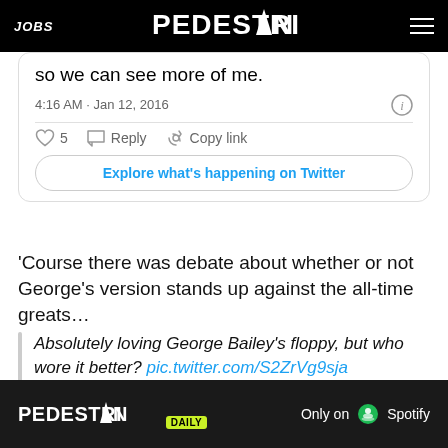JOBS | PEDESTRIAN | (menu)
so we can see more of me.
4:16 AM · Jan 12, 2016
5  Reply  Copy link
Explore what's happening on Twitter
'Course there was debate about whether or not George's version stands up against the all-time greats…
Absolutely loving George Bailey's floppy, but who wore it better? pic.twitter.com/S2ZrVg9sja
[Figure (infographic): Pedestrian Daily advertisement banner: 'PEDESTRIAN DAILY | Only on Spotify']